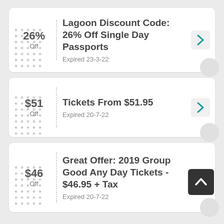26% Off — Lagoon Discount Code: 26% Off Single Day Passports — Expired 23-3-22
$51 Off — Tickets From $51.95 — Expired 20-7-22
$46 Off — Great Offer: 2019 Group Good Any Day Tickets - $46.95 + Tax — Expired 20-7-22